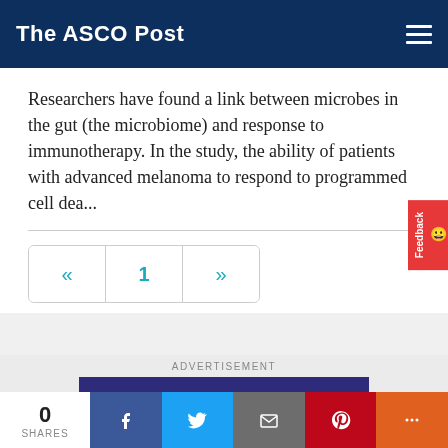The ASCO Post
Researchers have found a link between microbes in the gut (the microbiome) and response to immunotherapy. In the study, the ability of patients with advanced melanoma to respond to programmed cell dea...
[Figure (other): Pagination controls showing previous arrow (<<), page number 1, and next arrow (>>)]
ADVERTISEMENT
[Figure (other): JADPRO CE advertisement banner with 'Earn Credits' text]
0 SHARES | Facebook | Twitter | Email | Pinterest | More